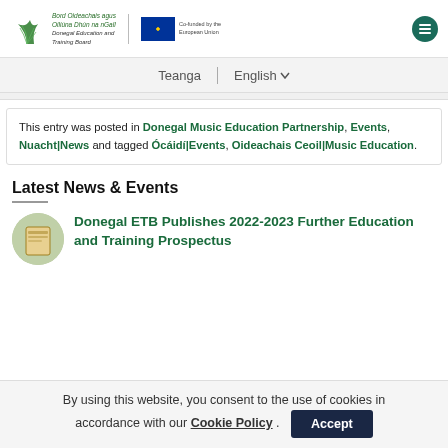Bord Oideachais agus Oiliúna Dhún na nGall Donegal Education and Training Board | Co-funded by the European Union
Teanga | English
This entry was posted in Donegal Music Education Partnership, Events, Nuacht|News and tagged Ócáidí|Events, Oideachais Ceoil|Music Education.
Latest News & Events
Donegal ETB Publishes 2022-2023 Further Education and Training Prospectus
By using this website, you consent to the use of cookies in accordance with our Cookie Policy . Accept